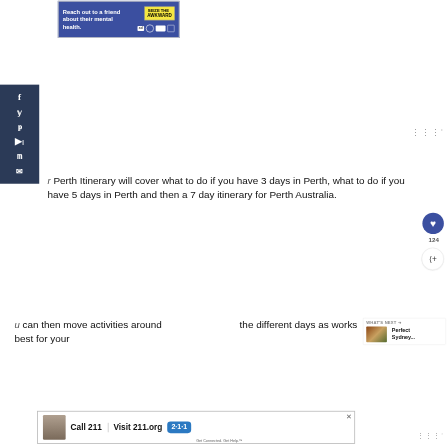[Figure (screenshot): Top banner advertisement with blue background reading 'Reach out to a friend about their mental health.' with 'SEIZE THE AWKWARD' yellow badge and ad network icons]
[Figure (infographic): Left dark blue social media sharing sidebar with icons for Facebook, Twitter, Pinterest, Flipboard, Mix, and Email]
[Figure (screenshot): Widget/Weave icon in upper right area]
Perth Itinerary will cover what to do if you have 3 days in Perth, what to do if you have 5 days in Perth and then a 7 day itinerary for Perth Australia.
[Figure (infographic): Blue circular heart/save button with count 124 below it, and a share button below that]
You can then move activities around the different days as works best for your
[Figure (screenshot): WHAT'S NEXT panel showing thumbnail image and text 'Perfect Sydney...']
[Figure (screenshot): Bottom banner advertisement: Call 211 | Visit 211.org with blue 2-1-1 badge logo and person thumbnail, with close X button]